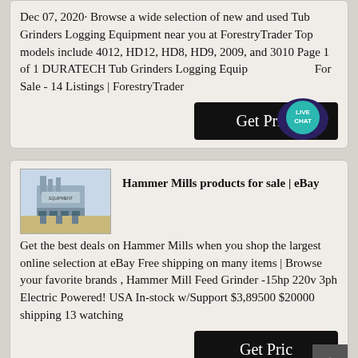Dec 07, 2020· Browse a wide selection of new and used Tub Grinders Logging Equipment near you at ForestryTrader Top models include 4012, HD12, HD8, HD9, 2009, and 3010 Page 1 of 1 DURATECH Tub Grinders Logging Equipment For Sale - 14 Listings | ForestryTrader
[Figure (other): Live Chat speech bubble icon with teal/dark blue color and white text 'LIVE CHAT']
Get Price
[Figure (photo): Photo of industrial hammer mill equipment outdoors]
Hammer Mills products for sale | eBay
Get the best deals on Hammer Mills when you shop the largest online selection at eBay Free shipping on many items | Browse your favorite brands , Hammer Mill Feed Grinder -15hp 220v 3ph Electric Powered! USA In-stock w/Support $3,89500 $20000 shipping 13 watching
Get Price